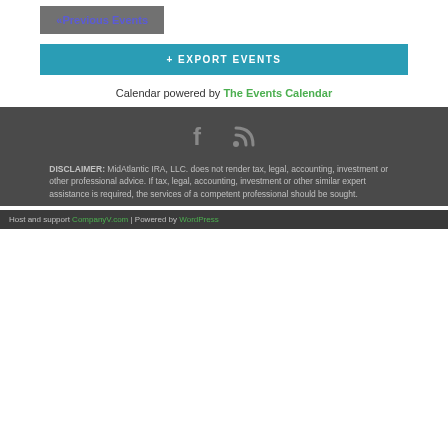«Previous Events
+ EXPORT EVENTS
Calendar powered by The Events Calendar
[Figure (illustration): Facebook and RSS feed social media icons]
DISCLAIMER: MidAtlantic IRA, LLC. does not render tax, legal, accounting, investment or other professional advice. If tax, legal, accounting, investment or other similar expert assistance is required, the services of a competent professional should be sought.
Host and support CompanyV.com | Powered by WordPress